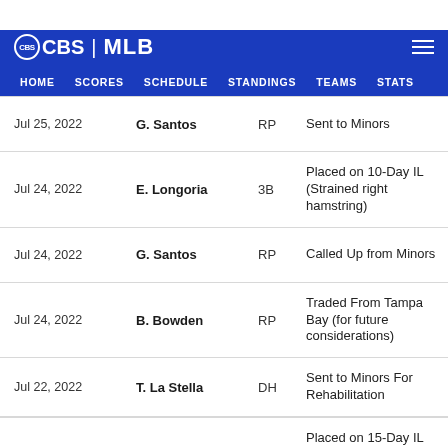CBS | MLB — HOME  SCORES  SCHEDULE  STANDINGS  TEAMS  STATS
| Date | Player | Pos | Transaction |
| --- | --- | --- | --- |
| Jul 25, 2022 | G. Santos | RP | Sent to Minors |
| Jul 24, 2022 | E. Longoria | 3B | Placed on 10-Day IL (Strained right hamstring) |
| Jul 24, 2022 | G. Santos | RP | Called Up from Minors |
| Jul 24, 2022 | B. Bowden | RP | Traded From Tampa Bay (for future considerations) |
| Jul 22, 2022 | T. La Stella | DH | Sent to Minors For Rehabilitation |
|  |  |  | Placed on 15-Day IL |